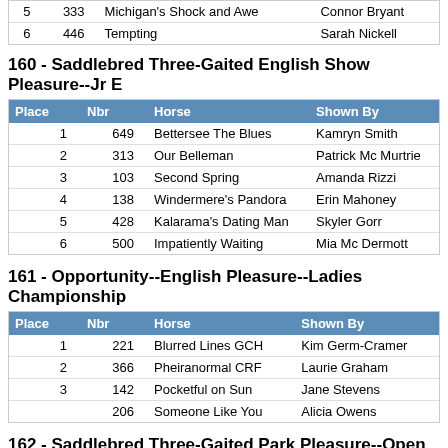| Place | Nbr | Horse | Shown By |
| --- | --- | --- | --- |
| 5 | 333 | Michigan's Shock and Awe | Connor Bryant |
| 6 | 446 | Tempting | Sarah Nickell |
160 - Saddlebred Three-Gaited English Show Pleasure--Jr E
| Place | Nbr | Horse | Shown By |
| --- | --- | --- | --- |
| 1 | 649 | Bettersee The Blues | Kamryn Smith |
| 2 | 313 | Our Belleman | Patrick Mc Murtrie |
| 3 | 103 | Second Spring | Amanda Rizzi |
| 4 | 138 | Windermere's Pandora | Erin Mahoney |
| 5 | 428 | Kalarama's Dating Man | Skyler Gorr |
| 6 | 500 | Impatiently Waiting | Mia Mc Dermott |
161 - Opportunity--English Pleasure--Ladies Championship
| Place | Nbr | Horse | Shown By |
| --- | --- | --- | --- |
| 1 | 221 | Blurred Lines GCH | Kim Germ-Cramer |
| 2 | 366 | Pheiranormal CRF | Laurie Graham |
| 3 | 142 | Pocketful on Sun | Jane Stevens |
|  | 206 | Someone Like You | Alicia Owens |
162 - Saddlebred Three-Gaited Park Pleasure--Open Champ
| Place | Nbr | Horse | Shown By |
| --- | --- | --- | --- |
| 1 | 648 | CH Callaway's Aperitif | Lauren Greenwald |
| 2 | 415 | Walterway's Knock on Wood | Emily Nichols |
| 3 | 507 | Cats Goes NKE | Janice Kurfuse |